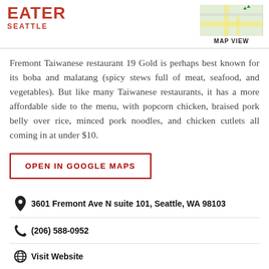EATER SEATTLE
[Figure (map): Small Google Maps thumbnail showing street map view with green area and roads. MAP VIEW label below.]
Fremont Taiwanese restaurant 19 Gold is perhaps best known for its boba and malatang (spicy stews full of meat, seafood, and vegetables). But like many Taiwanese restaurants, it has a more affordable side to the menu, with popcorn chicken, braised pork belly over rice, minced pork noodles, and chicken cutlets all coming in at under $10.
OPEN IN GOOGLE MAPS
3601 Fremont Ave N suite 101, Seattle, WA 98103
(206) 588-0952
Visit Website
19goldseattle
2,108 followers
[Figure (photo): Dark restaurant photo showing Chinese characters 十九金 (19 Gold) in gold/orange on a dark background.]